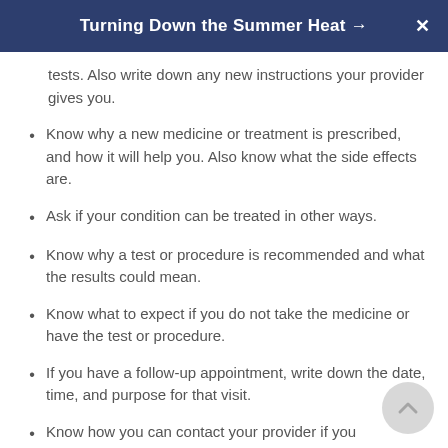Turning Down the Summer Heat →
tests. Also write down any new instructions your provider gives you.
Know why a new medicine or treatment is prescribed, and how it will help you. Also know what the side effects are.
Ask if your condition can be treated in other ways.
Know why a test or procedure is recommended and what the results could mean.
Know what to expect if you do not take the medicine or have the test or procedure.
If you have a follow-up appointment, write down the date, time, and purpose for that visit.
Know how you can contact your provider if you